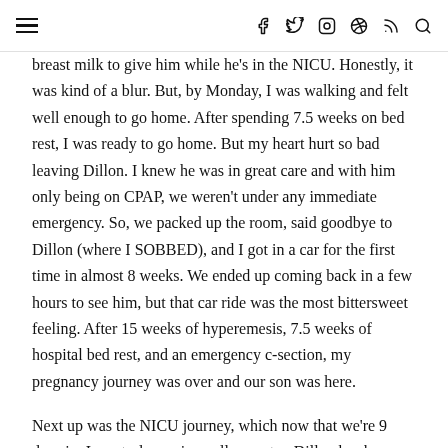Navigation header with hamburger menu and social icons (f, twitter, instagram, pinterest, rss, search)
breast milk to give him while he's in the NICU. Honestly, it was kind of a blur. But, by Monday, I was walking and felt well enough to go home. After spending 7.5 weeks on bed rest, I was ready to go home. But my heart hurt so bad leaving Dillon. I knew he was in great care and with him only being on CPAP, we weren't under any immediate emergency. So, we packed up the room, said goodbye to Dillon (where I SOBBED), and I got in a car for the first time in almost 8 weeks. We ended up coming back in a few hours to see him, but that car ride was the most bittersweet feeling. After 15 weeks of hyperemesis, 7.5 weeks of hospital bed rest, and an emergency c-section, my pregnancy journey was over and our son was here.
Next up was the NICU journey, which now that we're 9 days in, I can truly say is a rollercoaster. Dillon has been doing awesome (his nurses all call him a rockstar) but every little